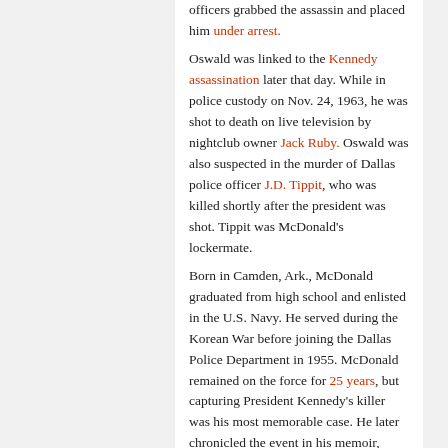officers grabbed the assassin and placed him under arrest. Oswald was linked to the Kennedy assassination later that day. While in police custody on Nov. 24, 1963, he was shot to death on live television by nightclub owner Jack Ruby. Oswald was also suspected in the murder of Dallas police officer J.D. Tippit, who was killed shortly after the president was shot. Tippit was McDonald's lockermate. Born in Camden, Ark., McDonald graduated from high school and enlisted in the U.S. Navy. He served during the Korean War before joining the Dallas Police Department in 1955. McDonald remained on the force for 25 years, but capturing President Kennedy's killer was his most memorable case. He later chronicled the event in his memoir, “The Arrest and Capture of Lee Harvey Oswald.” McDonald died on Jan. 27 of complications from diabetes. He was 76.